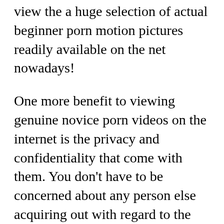view the a huge selection of actual beginner porn motion pictures readily available on the net nowadays!
One more benefit to viewing genuine novice porn videos on the internet is the privacy and confidentiality that come with them. You don't have to be concerned about any person else acquiring out with regard to the films that you choose to down load. They are really saved strictly confidential and cannot be shared with everyone. That is a fantastic https://www.washingtonpost.com/newssearch/?query=porn sites detail when you consider